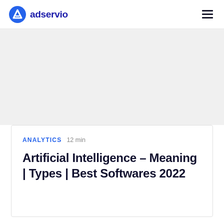adservio
[Figure (other): Gray hero/banner area below navigation bar]
ANALYTICS  12 min
Artificial Intelligence – Meaning | Types | Best Softwares 2022